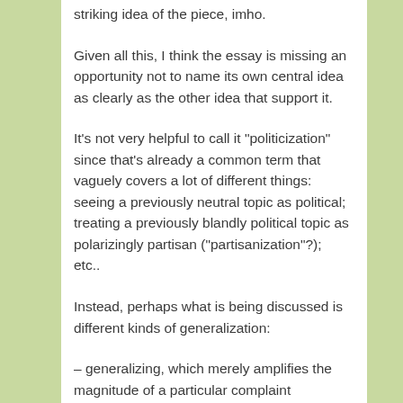striking idea of the piece, imho.
Given all this, I think the essay is missing an opportunity not to name its own central idea as clearly as the other idea that support it.
It’s not very helpful to call it “politicization” since that’s already a common term that vaguely covers a lot of different things: seeing a previously neutral topic as political; treating a previously blandly political topic as polarizingly partisan (“partisanization”?); etc..
Instead, perhaps what is being discussed is different kinds of generalization:
– generalizing, which merely amplifies the magnitude of a particular complaint